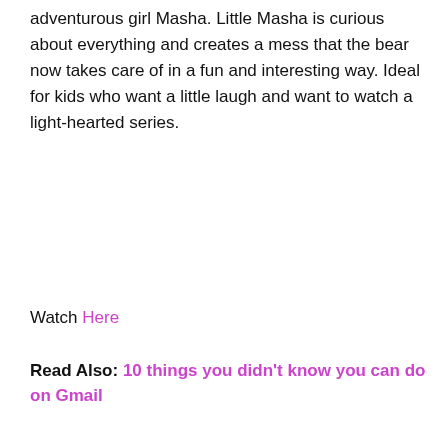adventurous girl Masha. Little Masha is curious about everything and creates a mess that the bear now takes care of in a fun and interesting way. Ideal for kids who want a little laugh and want to watch a light-hearted series.
Watch Here
Read Also: 10 things you didn't know you can do on Gmail
Powerpuff Girls
[Figure (photo): Powerpuff Girls cartoon characters — three small girls with large heads on a light blue/teal background. A pink scroll-to-top button with a white upward arrow chevron is visible in the bottom right corner.]